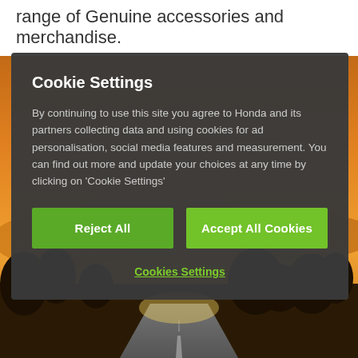range of Genuine accessories and merchandise.
[Figure (screenshot): Sunset road landscape background image with warm orange sky and silhouetted trees]
Cookie Settings
By continuing to use this site you agree to Honda and its partners collecting data and using cookies for ad personalisation, social media features and measurement. You can find out more and update your choices at any time by clicking on 'Cookie Settings'
Reject All
Accept All Cookies
Cookies Settings